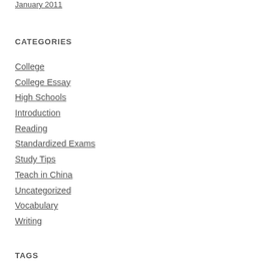January 2011
CATEGORIES
College
College Essay
High Schools
Introduction
Reading
Standardized Exams
Study Tips
Teach in China
Uncategorized
Vocabulary
Writing
TAGS